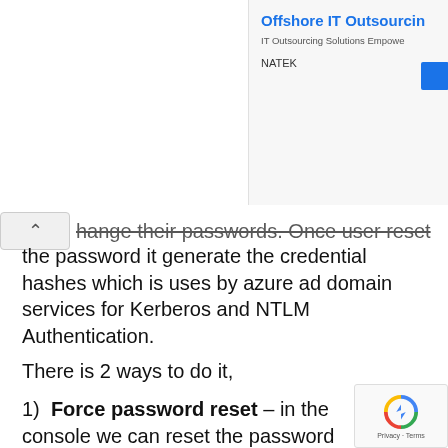Offshore IT Outsourcing – IT Outsourcing Solutions Empowered by NATEK
hange their passwords. Once user reset the password it generate the credential hashes which is uses by azure ad domain services for Kerberos and NTLM Authentication.
There is 2 ways to do it,
1) Force password reset – in the console we can reset the password for user. It will generate temporally password for the us in next login, user need to provide new password.